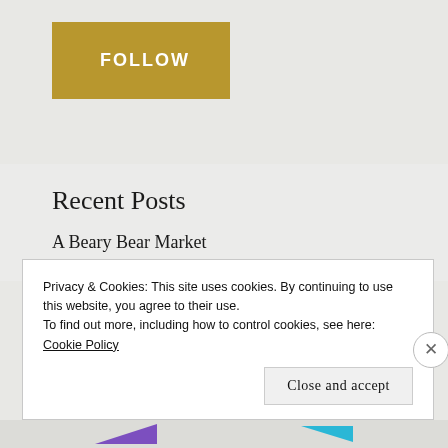[Figure (other): Gold/yellow FOLLOW button widget on light grey background]
Recent Posts
A Beary Bear Market
Privacy & Cookies: This site uses cookies. By continuing to use this website, you agree to their use.
To find out more, including how to control cookies, see here: Cookie Policy
Close and accept